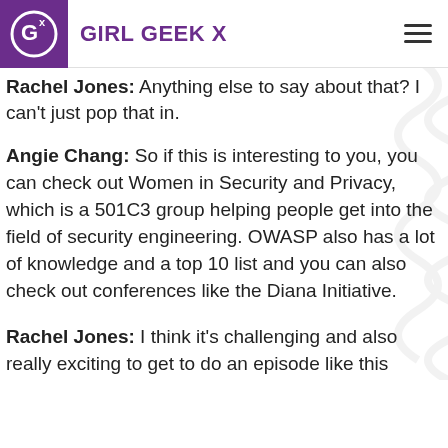Girl Geek X
Rachel Jones: Anything else to say about that? I can't just pop that in.
Angie Chang: So if this is interesting to you, you can check out Women in Security and Privacy, which is a 501C3 group helping people get into the field of security engineering. OWASP also has a lot of knowledge and a top 10 list and you can also check out conferences like the Diana Initiative.
Rachel Jones: I think it's challenging and also really exciting to get to do an episode like this